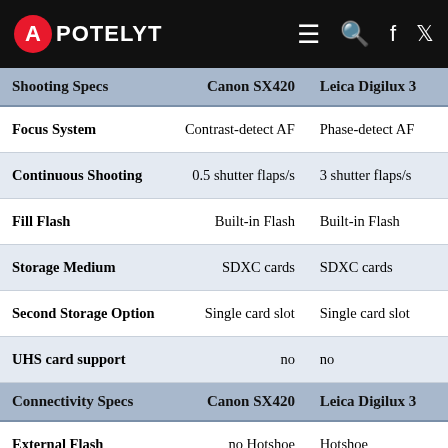APOTELYT
| Shooting Specs | Canon SX420 | Leica Digilux 3 |
| --- | --- | --- |
| Focus System | Contrast-detect AF | Phase-detect AF |
| Continuous Shooting | 0.5 shutter flaps/s | 3 shutter flaps/s |
| Fill Flash | Built-in Flash | Built-in Flash |
| Storage Medium | SDXC cards | SDXC cards |
| Second Storage Option | Single card slot | Single card slot |
| UHS card support | no | no |
| Connectivity Specs | Canon SX420 | Leica Digilux 3 |
| External Flash | no Hotshoe | Hotshoe |
| USB Connector | USB 2.0 | USB 2.0 |
| HDMI Port | no HDMI | no HDMI |